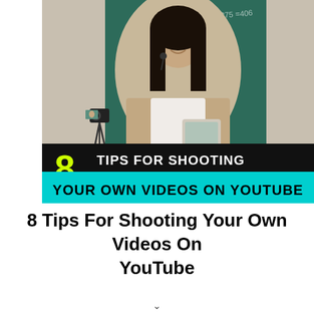[Figure (photo): A woman teacher standing in front of a chalkboard holding a tablet, with a camera on a tripod filming her. Overlaid text reads '8 TIPS FOR SHOOTING YOUR OWN VIDEOS ON YOUTUBE' with yellow and cyan styling on a dark background banner.]
8 Tips For Shooting Your Own Videos On YouTube